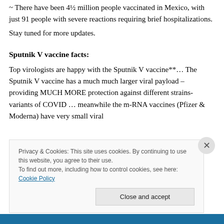~ There have been 4½ million people vaccinated in Mexico, with just 91 people with severe reactions requiring brief hospitalizations.
Stay tuned for more updates.
Sputnik V vaccine facts:
Top virologists are happy with the Sputnik V vaccine**… The Sputnik V vaccine has a much much larger viral payload – providing MUCH MORE protection against different strains-variants of COVID … meanwhile the m-RNA vaccines (Pfizer & Moderna) have very small viral
Privacy & Cookies: This site uses cookies. By continuing to use this website, you agree to their use.
To find out more, including how to control cookies, see here: Cookie Policy
Close and accept